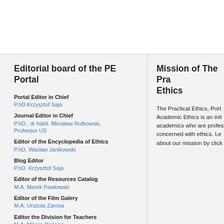Editorial board of the PE Portal
Portal Editor in Chief
P.hD.Krzysztof Saja
Journal Editor in Chief
P.hD., dr habil. Mirosław Rutkowski, Professor US
Editor of the Encyclopedia of Ethics
P.hD. Wacław Janikowski
Blog Editor
P.hD. Krzysztof Saja
Editor of the Resources Catalog
M.A. Marek Pawłowski
Editor of the Film Galery
M.A. Urszula Zarosa
Editor the Division for Teachers
M.A. Milena Bielenis
Editor of the English version, Graphics
Mission of The Pra... Ethics
The Practical Ethics, Port... Academic Ethics is an init... academics who are profes... concerned with ethics. Le... about our mission by click...